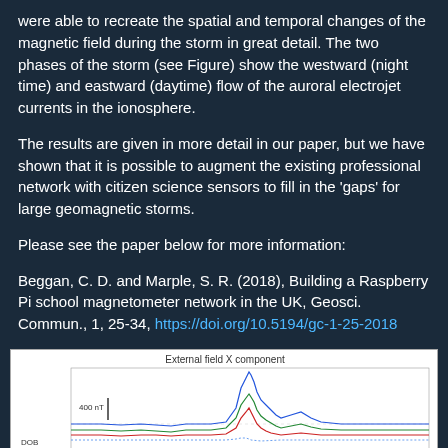were able to recreate the spatial and temporal changes of the magnetic field during the storm in great detail. The two phases of the storm (see Figure) show the westward (night time) and eastward (daytime) flow of the auroral electrojet currents in the ionosphere.
The results are given in more detail in our paper, but we have shown that it is possible to augment the existing professional network with citizen science sensors to fill in the 'gaps' for large geomagnetic storms.
Please see the paper below for more information:
Beggan, C. D. and Marple, S. R. (2018), Building a Raspberry Pi school magnetometer network in the UK, Geosci. Commun., 1, 25-34, https://doi.org/10.5194/gc-1-25-2018
[Figure (continuous-plot): Line chart titled 'External field X component' showing multiple colored lines (blue, green, red) plotting magnetic field X component over time. Y-axis shows 400 nT scale bar. Legend shows DOB and SOL station labels. The lines show a large spike/disturbance event in the middle-right portion of the chart.]